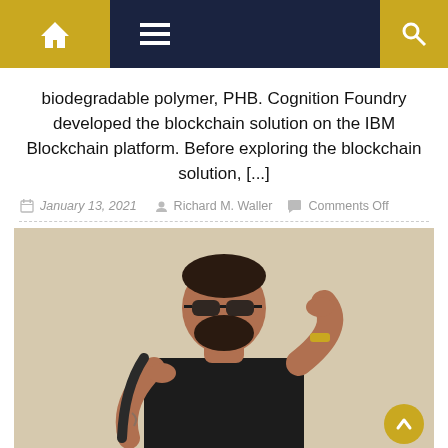Navigation bar with home icon, hamburger menu, and search icon
biodegradable polymer, PHB. Cognition Foundry developed the blockchain solution on the IBM Blockchain platform. Before exploring the blockchain solution, [...]
January 13, 2021   Richard M. Waller   Comments Off
[Figure (photo): A muscular man with a beard and sunglasses wearing a black t-shirt, posing against a light beige wall, adjusting his sunglasses with one hand.]